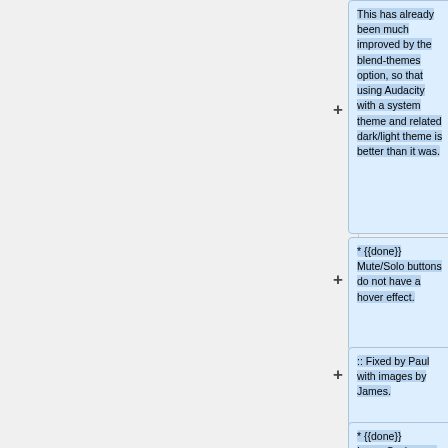This has already been much improved by the blend-themes option, so that using Audacity with a system theme and related dark/light theme is better than it was.
* {{done}} Mute/Solo buttons do not have a hover effect.
:: Fixed by Paul with images by James.
* {{done}} ImageCache.png is confusing.  Part I reorganisation done.